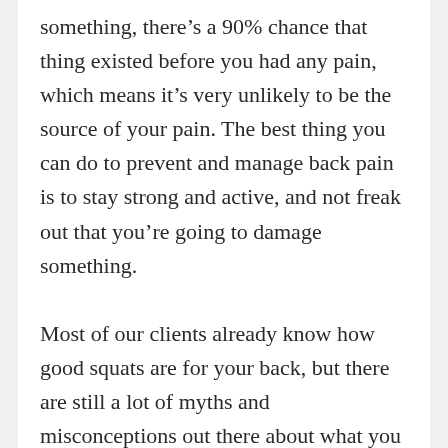something, there's a 90% chance that thing existed before you had any pain, which means it's very unlikely to be the source of your pain. The best thing you can do to prevent and manage back pain is to stay strong and active, and not freak out that you're going to damage something.
Most of our clients already know how good squats are for your back, but there are still a lot of myths and misconceptions out there about what you should do with your back when squatting so as to not injure yourself. Many of these misconceptions come from the extremely high prevalence of back pain as discussed above. There is also the pervasive belief that the spine is fragile...